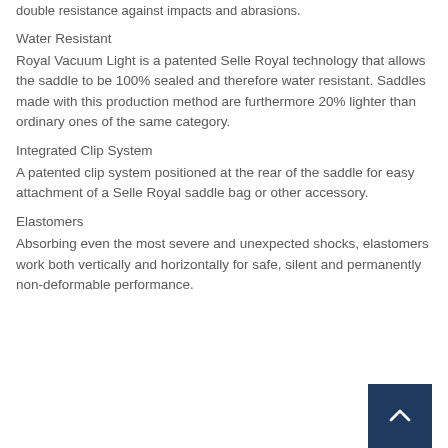double resistance against impacts and abrasions.
Water Resistant
Royal Vacuum Light is a patented Selle Royal technology that allows the saddle to be 100% sealed and therefore water resistant. Saddles made with this production method are furthermore 20% lighter than ordinary ones of the same category.
Integrated Clip System
A patented clip system positioned at the rear of the saddle for easy attachment of a Selle Royal saddle bag or other accessory.
Elastomers
Absorbing even the most severe and unexpected shocks, elastomers work both vertically and horizontally for safe, silent and permanently non-deformable performance.
[Figure (other): Back to top button - dark navy square with upward-pointing chevron arrow]